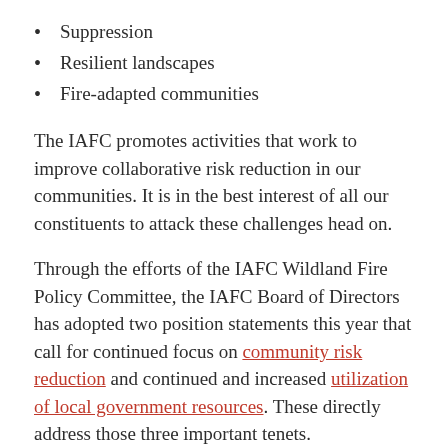Suppression
Resilient landscapes
Fire-adapted communities
The IAFC promotes activities that work to improve collaborative risk reduction in our communities. It is in the best interest of all our constituents to attack these challenges head on.
Through the efforts of the IAFC Wildland Fire Policy Committee, the IAFC Board of Directors has adopted two position statements this year that call for continued focus on community risk reduction and continued and increased utilization of local government resources. These directly address those three important tenets.